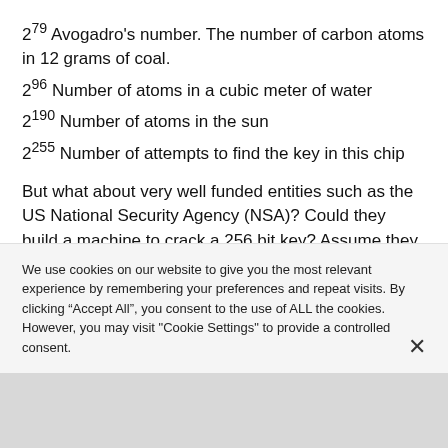2^79 Avogadro's number. The number of carbon atoms in 12 grams of coal.
2^96 Number of atoms in a cubic meter of water
2^190 Number of atoms in the sun
2^255 Number of attempts to find the key in this chip
But what about very well funded entities such as the US National Security Agency (NSA)? Could they build a machine to crack a 256 bit key? Assume they could build a theoretical nanocomputer that executes 1013
We use cookies on our website to give you the most relevant experience by remembering your preferences and repeat visits. By clicking “Accept All”, you consent to the use of ALL the cookies. However, you may visit "Cookie Settings" to provide a controlled consent.